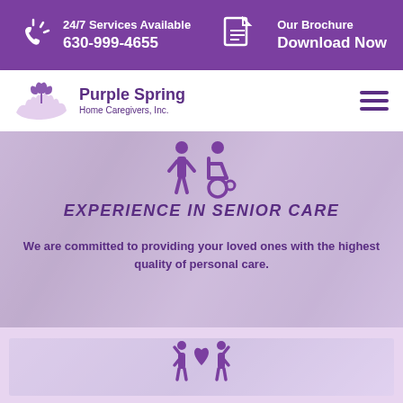24/7 Services Available 630-999-4655 | Our Brochure Download Now
[Figure (logo): Purple Spring Home Caregivers, Inc. logo with tulip and hands icon]
EXPERIENCE IN SENIOR CARE
We are committed to providing your loved ones with the highest quality of personal care.
[Figure (illustration): Bottom card section showing a care-related icon (heart with people)]